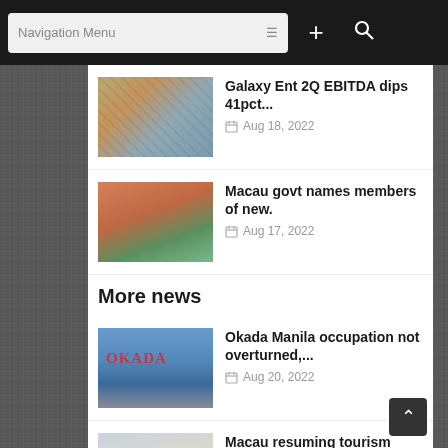Navigation Menu
[Figure (screenshot): Thumbnail image of a construction site aerial view]
Galaxy Ent 2Q EBITDA dips 41pct...
Aug 18, 2022
[Figure (screenshot): Thumbnail image of a colonial building with palm trees]
Macau govt names members of new.
Aug 17, 2022
More news
[Figure (screenshot): Thumbnail image of Okada building with sign]
Okada Manila occupation not overturned,...
Aug 20, 2022
[Figure (screenshot): Thumbnail image of Macau street with pedestrians]
Macau resuming tourism promotion on...
Aug 19, 2022